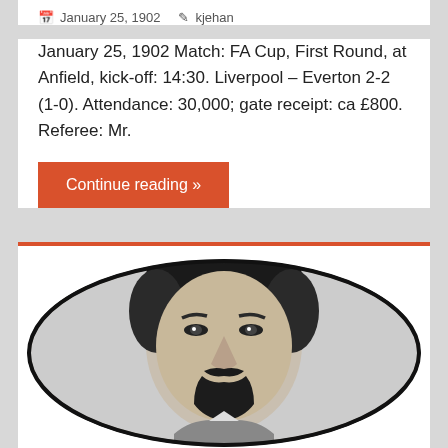January 25, 1902   kjehan
January 25, 1902 Match: FA Cup, First Round, at Anfield, kick-off: 14:30. Liverpool – Everton 2-2 (1-0). Attendance: 30,000; gate receipt: ca £800. Referee: Mr.
Continue reading »
[Figure (photo): Black and white oval portrait photograph of a man with dark hair and a beard/moustache, appears to be from early 1900s era.]